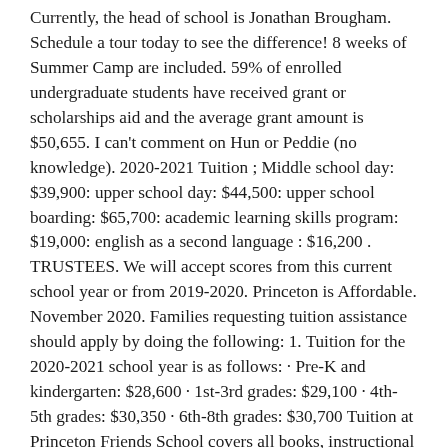Currently, the head of school is Jonathan Brougham. Schedule a tour today to see the difference! 8 weeks of Summer Camp are included. 59% of enrolled undergraduate students have received grant or scholarships aid and the average grant amount is $50,655. I can't comment on Hun or Peddie (no knowledge). 2020-2021 Tuition ; Middle school day: $39,900: upper school day: $44,500: upper school boarding: $65,700: academic learning skills program: $19,000: english as a second language : $16,200 . TRUSTEES. We will accept scores from this current school year or from 2019-2020. Princeton is Affordable. November 2020. Families requesting tuition assistance should apply by doing the following: 1. Tuition for the 2020-2021 school year is as follows: · Pre-K and kindergarten: $28,600 · 1st-3rd grades: $29,100 · 4th-5th grades: $30,350 · 6th-8th grades: $30,700 Tuition at Princeton Friends School covers all books, instructional materials, technology equipment and services, and most activities and field trips. Title: Princeton Day School Fall 2014 Journal, Author: Princeton Day School, Name: Princeton Day School Fall 2014 Journal,